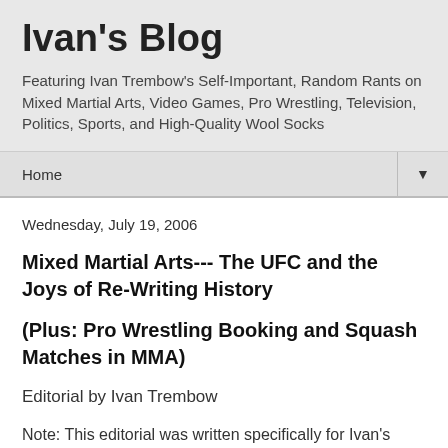Ivan's Blog
Featuring Ivan Trembow's Self-Important, Random Rants on Mixed Martial Arts, Video Games, Pro Wrestling, Television, Politics, Sports, and High-Quality Wool Socks
Home ▼
Wednesday, July 19, 2006
Mixed Martial Arts--- The UFC and the Joys of Re-Writing History
(Plus: Pro Wrestling Booking and Squash Matches in MMA)
Editorial by Ivan Trembow
Note: This editorial was written specifically for Ivan's Blog. Also, the opinions expressed in this editorial are those of